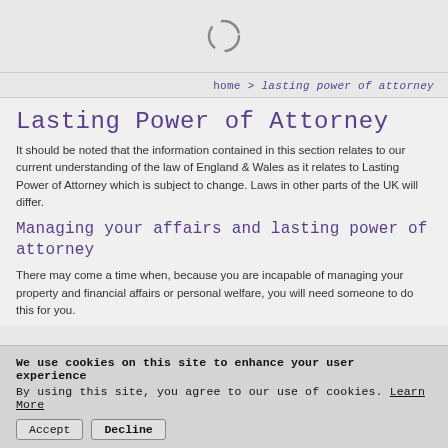[spinner/loading icon]
home > lasting power of attorney
Lasting Power of Attorney
It should be noted that the information contained in this section relates to our current understanding of the law of England & Wales as it relates to Lasting Power of Attorney which is subject to change. Laws in other parts of the UK will differ.
Managing your affairs and lasting power of attorney
There may come a time when, because you are incapable of managing your property and financial affairs or personal welfare, you will need someone to do this for you.
We use cookies on this site to enhance your user experience
By using this site, you agree to our use of cookies. Learn More
Accept   Decline